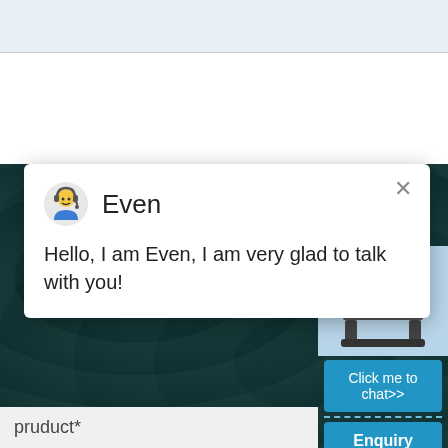[Figure (screenshot): Top navigation bar, light blue-grey background]
[Figure (screenshot): Dark teal background with INQUIRY text and chat widget overlay showing agent 'Even' with message 'Hello, I am Even, I am very glad to talk with you!', close button X, right panel with product image, badge '1', 'Click me to chat>>' button, 'Enquiry' button, email preview, and form field labeled 'pruduct*']
Even
Hello, I am Even, I am very glad to talk with you!
INQUIRY
1
Click me to chat>>
Enquiry
pruduct*